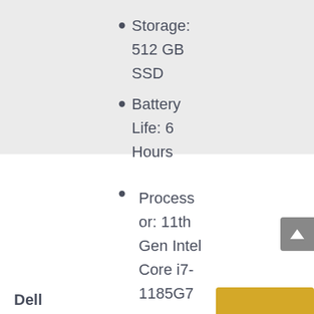Storage: 512 GB SSD
Battery Life: 6 Hours
Processor: 11th Gen Intel Core i7-1185G7
GPU: Intel Iris Xe
Dell